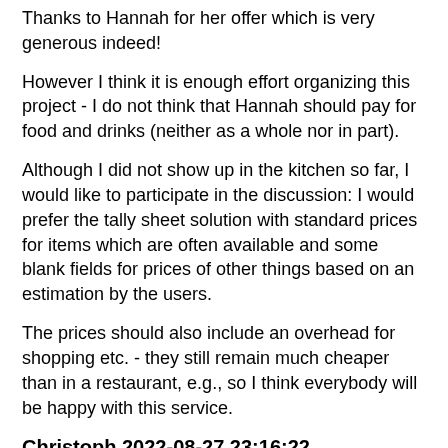Thanks to Hannah for her offer which is very generous indeed!
However I think it is enough effort organizing this project - I do not think that Hannah should pay for food and drinks (neither as a whole nor in part).
Although I did not show up in the kitchen so far, I would like to participate in the discussion: I would prefer the tally sheet solution with standard prices for items which are often available and some blank fields for prices of other things based on an estimation by the users.
The prices should also include an overhead for shopping etc. - they still remain much cheaper than in a restaurant, e.g., so I think everybody will be happy with this service.
Christoph 2022-08-27 23:16:22
After thinking a little more about the options i definitely think that a 'pay after' option will not work. I also know that there are people who don't eat much food and are not willing to pay 10€/month for such a service. So you cannot force them to do so. If there will be a food flat rate, it has to be a opt-in flat-rate. But i assume that on